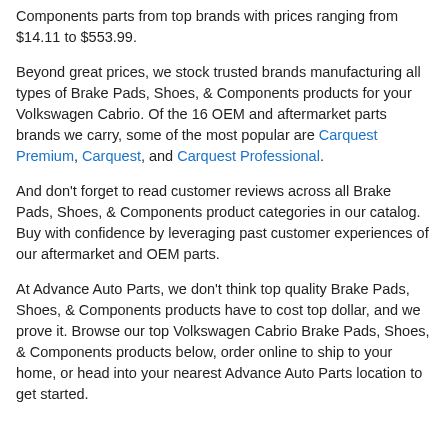Components parts from top brands with prices ranging from $14.11 to $553.99.
Beyond great prices, we stock trusted brands manufacturing all types of Brake Pads, Shoes, & Components products for your Volkswagen Cabrio. Of the 16 OEM and aftermarket parts brands we carry, some of the most popular are Carquest Premium, Carquest, and Carquest Professional.
And don't forget to read customer reviews across all Brake Pads, Shoes, & Components product categories in our catalog. Buy with confidence by leveraging past customer experiences of our aftermarket and OEM parts.
At Advance Auto Parts, we don't think top quality Brake Pads, Shoes, & Components products have to cost top dollar, and we prove it. Browse our top Volkswagen Cabrio Brake Pads, Shoes, & Components products below, order online to ship to your home, or head into your nearest Advance Auto Parts location to get started.